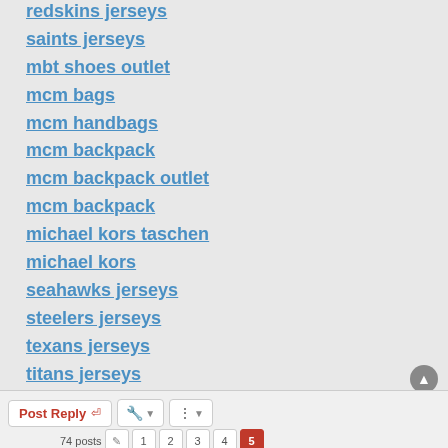redskins jerseys
saints jerseys
mbt shoes outlet
mcm bags
mcm handbags
mcm backpack
mcm backpack outlet
mcm backpack
michael kors taschen
michael kors
seahawks jerseys
steelers jerseys
texans jerseys
titans jerseys
vikings jerseys
cc20181017
Post Reply | tools | sort | 74 posts | 1 | 2 | 3 | 4 | 5